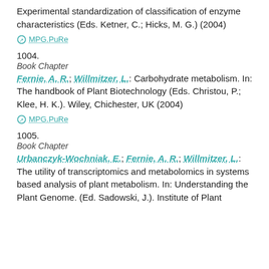Experimental standardization of classification of enzyme characteristics (Eds. Ketner, C.; Hicks, M. G.) (2004)
MPG.PuRe
1004.
Book Chapter
Fernie, A. R.; Willmitzer, L.: Carbohydrate metabolism. In: The handbook of Plant Biotechnology (Eds. Christou, P.; Klee, H. K.). Wiley, Chichester, UK (2004)
MPG.PuRe
1005.
Book Chapter
Urbanczyk-Wochniak, E.; Fernie, A. R.; Willmitzer, L.: The utility of transcriptomics and metabolomics in systems based analysis of plant metabolism. In: Understanding the Plant Genome. (Ed. Sadowski, J.). Institute of Plant